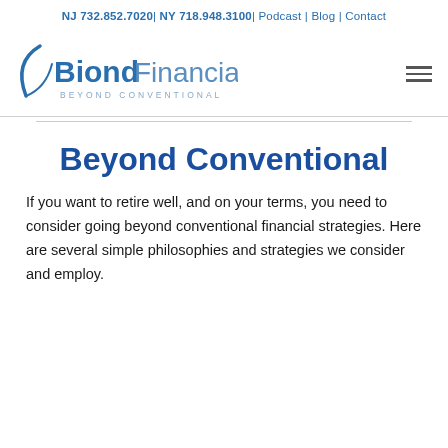NJ 732.852.7020| NY 718.948.3100| Podcast | Blog | Contact
[Figure (logo): Biond Financial logo with tagline BEYOND CONVENTIONAL and a decorative arc mark, accompanied by a hamburger menu icon]
Beyond Conventional
If you want to retire well, and on your terms, you need to consider going beyond conventional financial strategies. Here are several simple philosophies and strategies we consider and employ.